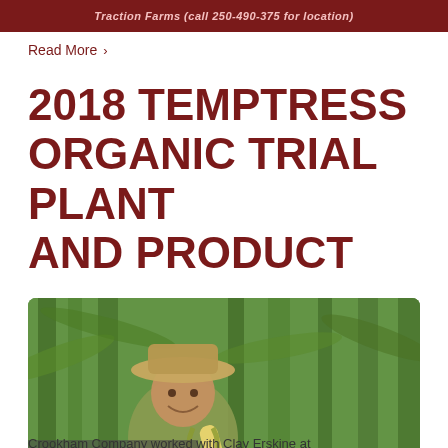Traction Farms (call 250-490-375 for location)
Read More ›
2018 TEMPTRESS ORGANIC TRIAL PLANT AND PRODUCT
[Figure (photo): A smiling man in a wide-brim hat standing in a lush green corn/sorghum field, holding a corn ear. A 'TOP ↑' button is visible in the lower-left corner of the photo overlay.]
Crookham Company worked with Clay Erskine at